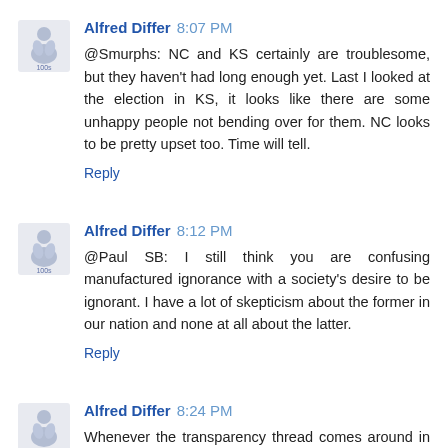Alfred Differ 8:07 PM
@Smurphs: NC and KS certainly are troublesome, but they haven't had long enough yet. Last I looked at the election in KS, it looks like there are some unhappy people not bending over for them. NC looks to be pretty upset too. Time will tell.
Reply
Alfred Differ 8:12 PM
@Paul SB: I still think you are confusing manufactured ignorance with a society's desire to be ignorant. I have a lot of skepticism about the former in our nation and none at all about the latter.
Reply
Alfred Differ 8:24 PM
Whenever the transparency thread comes around in the